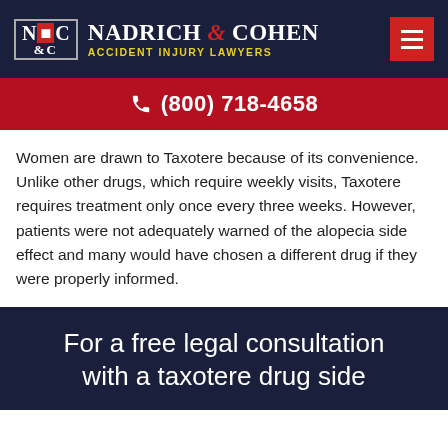Nadrich & Cohen Accident Injury Lawyers — (800) 718-4658
Women are drawn to Taxotere because of its convenience. Unlike other drugs, which require weekly visits, Taxotere requires treatment only once every three weeks. However, patients were not adequately warned of the alopecia side effect and many would have chosen a different drug if they were properly informed.
For a free legal consultation with a taxotere drug side